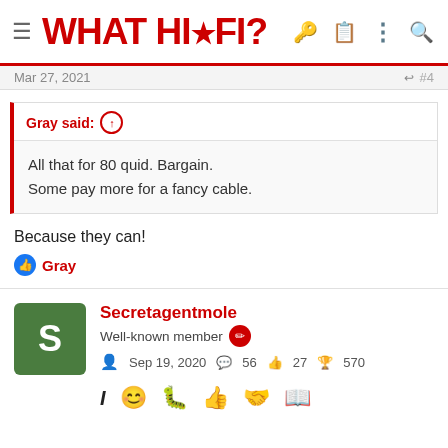WHAT HI*FI?
Mar 27, 2021   #4
Gray said: ↑
All that for 80 quid. Bargain.
Some pay more for a fancy cable.
Because they can!
👍 Gray
Secretagentmole
Well-known member
Sep 19, 2020   56   27   570